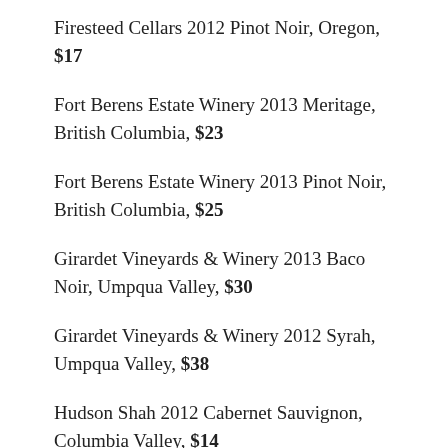Firesteed Cellars 2012 Pinot Noir, Oregon, $17
Fort Berens Estate Winery 2013 Meritage, British Columbia, $23
Fort Berens Estate Winery 2013 Pinot Noir, British Columbia, $25
Girardet Vineyards & Winery 2013 Baco Noir, Umpqua Valley, $30
Girardet Vineyards & Winery 2012 Syrah, Umpqua Valley, $38
Hudson Shah 2012 Cabernet Sauvignon, Columbia Valley, $14